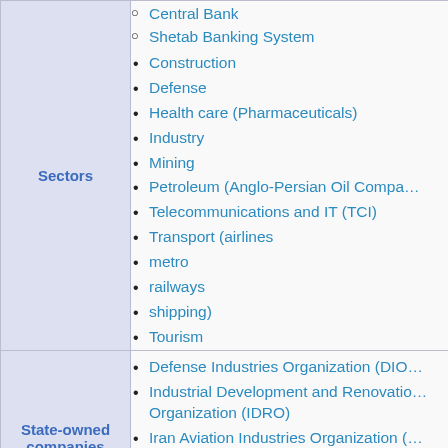| Category | Items |
| --- | --- |
| Sectors | Central Bank, Shetab Banking System, Construction, Defense, Health care (Pharmaceuticals), Industry, Mining, Petroleum (Anglo-Persian Oil Company), Telecommunications and IT (TCI), Transport (airlines, metro, railways, shipping), Tourism |
| State-owned companies | Defense Industries Organization (DIO), Industrial Development and Renovation Organization (IDRO), Iran Aviation Industries Organization, Iran Electronics Industries (IEI), National Iranian Oil Company (NIOC), National Development Fund |